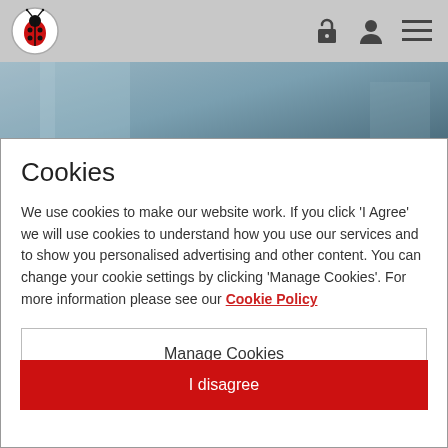Ladybird logo with navigation icons (lock, user, menu)
[Figure (photo): Hero image area showing a blurred blue-grey background, appears to be a close-up of fabric or paper]
Cookies
We use cookies to make our website work. If you click 'I Agree' we will use cookies to understand how you use our services and to show you personalised advertising and other content. You can change your cookie settings by clicking 'Manage Cookies'. For more information please see our Cookie Policy
Manage Cookies
I disagree